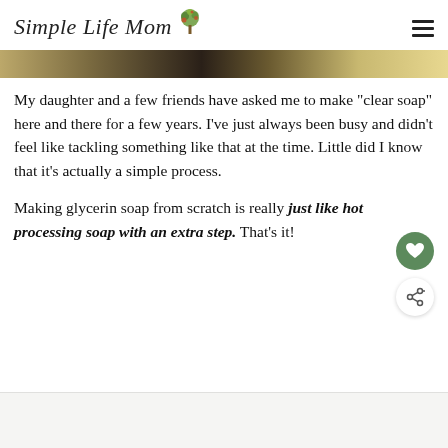Simple Life Mom
[Figure (photo): Cropped photo strip showing bars of soap, partially visible]
My daughter and a few friends have asked me to make "clear soap" here and there for a few years. I've just always been busy and didn't feel like tackling something like that at the time. Little did I know that it's actually a simple process.
Making glycerin soap from scratch is really just like hot processing soap with an extra step. That's it!